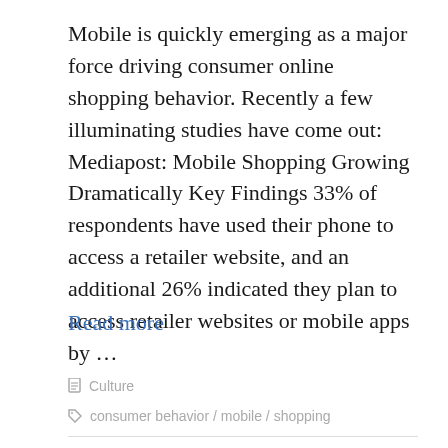Mobile is quickly emerging as a major force driving consumer online shopping behavior. Recently a few illuminating studies have come out: Mediapost: Mobile Shopping Growing Dramatically Key Findings 33% of respondents have used their phone to access a retailer website, and an additional 26% indicated they plan to access retailer websites or mobile apps by ...
Read more
Culture
consumer behavior / mobile / shopping